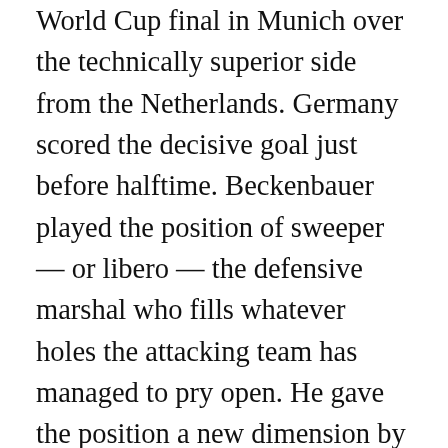World Cup final in Munich over the technically superior side from the Netherlands. Germany scored the decisive goal just before halftime. Beckenbauer played the position of sweeper — or libero — the defensive marshal who fills whatever holes the attacking team has managed to pry open. He gave the position a new dimension by transforming it into a dual-purpose role: organizing the defense and, on the attack, acting with his subtle passes as a quarterback does in American football. Those qualities proved decisive in that World Cup final and also produced four